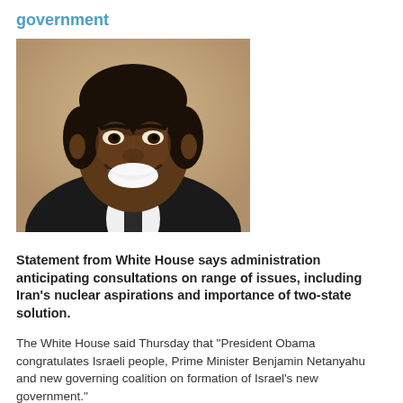government
[Figure (photo): Photo of Barack Obama smiling, wearing a dark suit, cropped close-up portrait]
Statement from White House says administration anticipating consultations on range of issues, including Iran's nuclear aspirations and importance of two-state solution.
The White House said Thursday that "President Obama congratulates Israeli people, Prime Minister Benjamin Netanyahu and new governing coalition on formation of Israel's new government."
The official statement came the morning after Netanyahu made a late night deal with Bayit Yehudi's Naftali Bennett on Wednesday night in order to finalize his coalition.